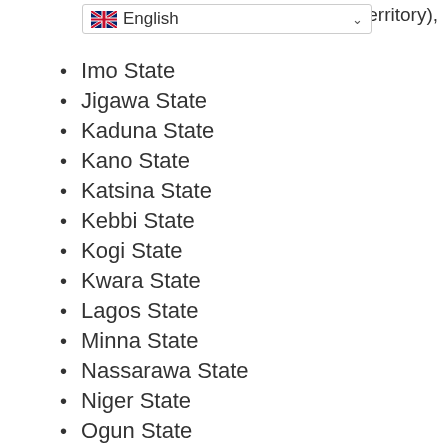apital Territory),
English
Imo State
Jigawa State
Kaduna State
Kano State
Katsina State
Kebbi State
Kogi State
Kwara State
Lagos State
Minna State
Nassarawa State
Niger State
Ogun State
Ondo State
Osun State
Oyo State